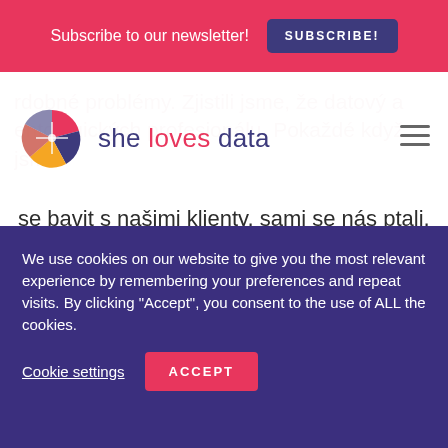Subscribe to our newsletter! SUBSCRIBE!
[Figure (logo): She Loves Data logo — fan/pinwheel icon in red, purple, yellow colors with text 'she loves data']
rdobné problémy. Zjistili jsme, že datový a entologických profesionálu. Pokaždé když jsme
se bavit s našimi klienty, sami se nás ptali, zda ti neznáme nějakého schopného datového analytika a tak jsme sami sobě řekli, že s tím něco zkusíme udělat. Ze statistik jsme věděli, že pouze 26% žen
We use cookies on our website to give you the most relevant experience by remembering your preferences and repeat visits. By clicking "Accept", you consent to the use of ALL the cookies.
Cookie settings
ACCEPT